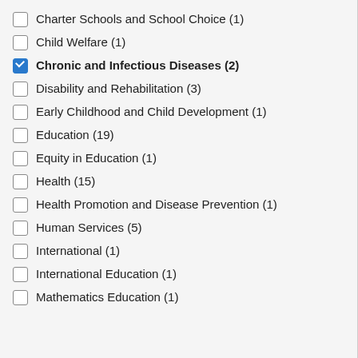Charter Schools and School Choice (1)
Child Welfare (1)
Chronic and Infectious Diseases (2)
Disability and Rehabilitation (3)
Early Childhood and Child Development (1)
Education (19)
Equity in Education (1)
Health (15)
Health Promotion and Disease Prevention (1)
Human Services (5)
International (1)
International Education (1)
Mathematics Education (1)